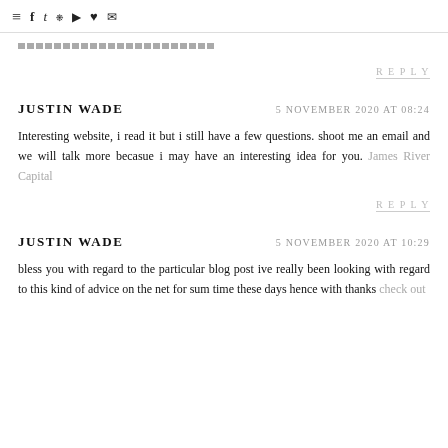≡ f t 🎵 ▶ ♥ ✉
[Figure (other): Progress bar / pagination indicator showing repeated block segments]
REPLY
JUSTIN WADE    5 NOVEMBER 2020 AT 08:24
Interesting website, i read it but i still have a few questions. shoot me an email and we will talk more becasue i may have an interesting idea for you. James River Capital
REPLY
JUSTIN WADE    5 NOVEMBER 2020 AT 10:29
bless you with regard to the particular blog post ive really been looking with regard to this kind of advice on the net for sum time these days hence with thanks check out